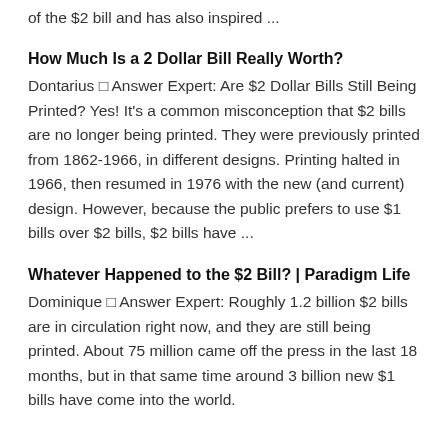of the $2 bill and has also inspired ...
How Much Is a 2 Dollar Bill Really Worth?
Dontarius □ Answer Expert: Are $2 Dollar Bills Still Being Printed? Yes! It's a common misconception that $2 bills are no longer being printed. They were previously printed from 1862-1966, in different designs. Printing halted in 1966, then resumed in 1976 with the new (and current) design. However, because the public prefers to use $1 bills over $2 bills, $2 bills have ...
Whatever Happened to the $2 Bill? | Paradigm Life
Dominique □ Answer Expert: Roughly 1.2 billion $2 bills are in circulation right now, and they are still being printed. About 75 million came off the press in the last 18 months, but in that same time around 3 billion new $1 bills have come into the world.